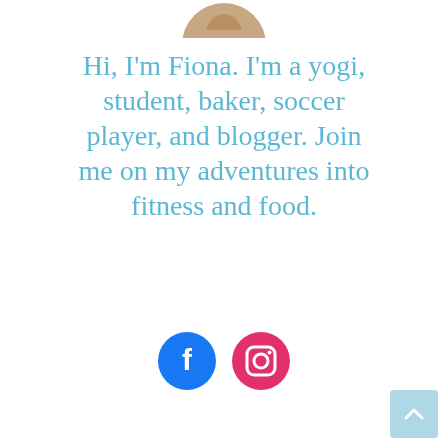[Figure (photo): Circular profile photo of person at top center, partially cropped]
Hi, I'm Fiona. I'm a yogi, student, baker, soccer player, and blogger. Join me on my adventures into fitness and food.
[Figure (other): Social media icons: Facebook (blue circle) and Instagram (pink circle)]